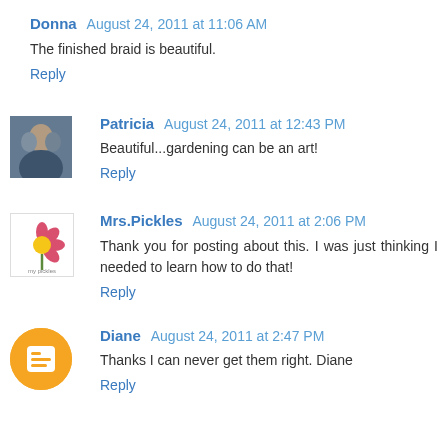Donna August 24, 2011 at 11:06 AM
The finished braid is beautiful.
Reply
Patricia August 24, 2011 at 12:43 PM
Beautiful...gardening can be an art!
Reply
Mrs.Pickles August 24, 2011 at 2:06 PM
Thank you for posting about this. I was just thinking I needed to learn how to do that!
Reply
Diane August 24, 2011 at 2:47 PM
Thanks I can never get them right. Diane
Reply